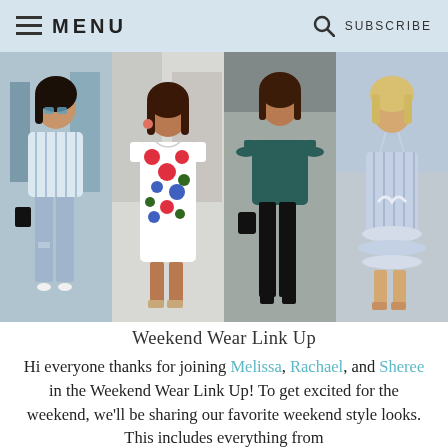MENU  SUBSCRIBE
[Figure (photo): Four fashion bloggers in summer weekend outfits: woman in striped off-shoulder top with ripped jeans and white heels; woman in floral off-shoulder dress with beige cage heels; woman in dark teal cold-shoulder top with black skinny jeans and black strappy heels; woman in blue striped ruffled mini dress with nude lace-up heels]
Weekend Wear Link Up
Hi everyone thanks for joining Melissa, Rachael, and Sheree in the Weekend Wear Link Up! To get excited for the weekend, we'll be sharing our favorite weekend style looks. This includes everything from